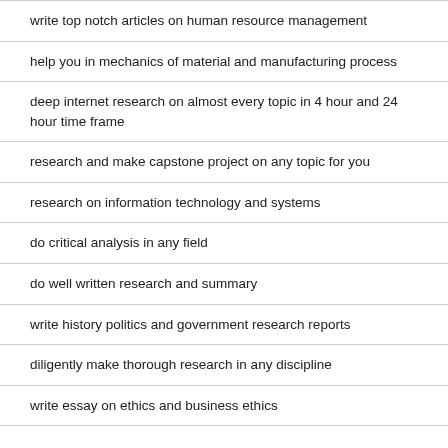write top notch articles on human resource management
help you in mechanics of material and manufacturing process
deep internet research on almost every topic in 4 hour and 24 hour time frame
research and make capstone project on any topic for you
research on information technology and systems
do critical analysis in any field
do well written research and summary
write history politics and government research reports
diligently make thorough research in any discipline
write essay on ethics and business ethics